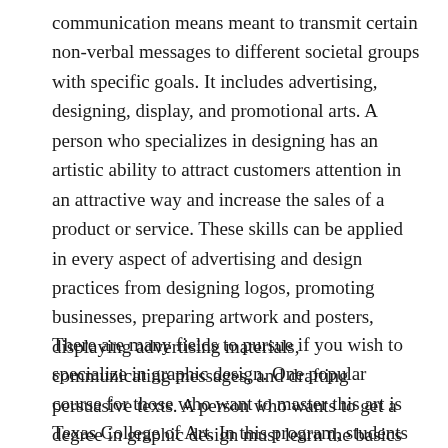communication means meant to transmit certain non-verbal messages to different societal groups with specific goals. It includes advertising, designing, display, and promotional arts. A person who specializes in designing has an artistic ability to attract customers attention in an attractive way and increase the sales of a product or service. These skills can be applied in every aspect of advertising and design practices from designing logos, promoting businesses, preparing artwork and posters, displaying advertising materials, communicating messages, and drafting persuasive texts. A person who wants to get a degree in graphic design must learn the basics of this creative subject.
There are many fields to pursue if you wish to specialize in graphic design. One popular course for those who want to master this art is Texas College of Art. In this program, students learn how to